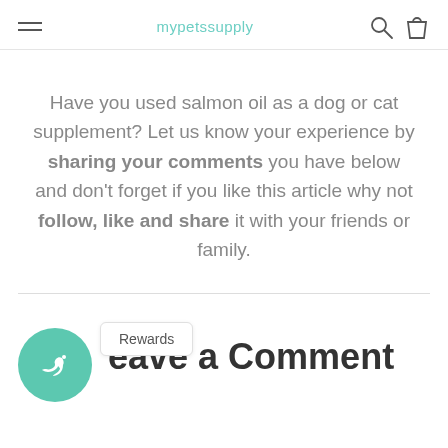mypetssupply
Have you used salmon oil as a dog or cat supplement? Let us know your experience by sharing your comments you have below and don't forget if you like this article why not follow, like and share it with your friends or family.
Leave a Comment